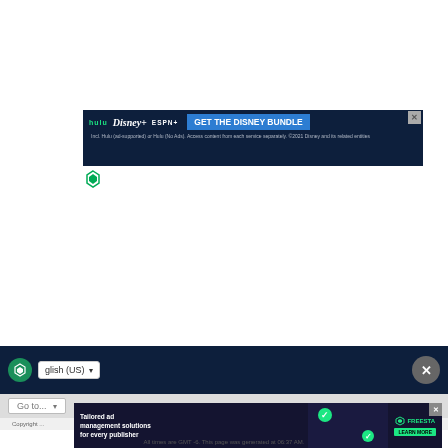[Figure (other): Disney Bundle advertisement banner with Hulu, Disney+, ESPN+ logos and 'GET THE DISNEY BUNDLE' call to action on dark navy background. Subtext: 'Incl. Hulu (ad-supported) or Hulu (No Ads). Access content from each service separately. ©2021 Disney and its related entities']
[Figure (logo): Freestar triangular green logo icon]
[Figure (other): Footer navigation bar with Freestar logo, English (US) language dropdown selector, and close button (X)]
[Figure (other): Go to... dropdown navigation bar]
Copyright ... Privacy Policy Part of the ... Baseball
[Figure (other): Freestar tailored ad management overlay ad: 'Tailored ad management solutions for every publisher' with LEARN MORE button and decorative graphic with check marks]
All times are GMT -6. This page was generated at 06:37 AM.